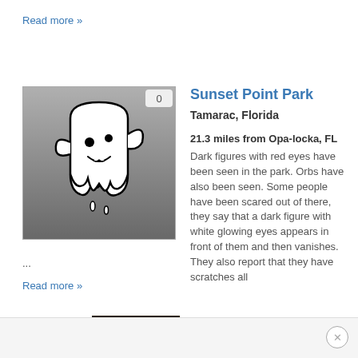Read more »
[Figure (illustration): Ghost cartoon illustration on a gray gradient background with a badge showing '0']
Sunset Point Park
Tamarac, Florida
21.3 miles from Opa-locka, FL
Dark figures with red eyes have been seen in the park. Orbs have also been seen. Some people have been scared out of there, they say that a dark figure with white glowing eyes appears in front of them and then vanishes. They also report that they have scratches all
...
Read more »
[Figure (photo): Book cover of 'Spooky Florida' with its reflection below]